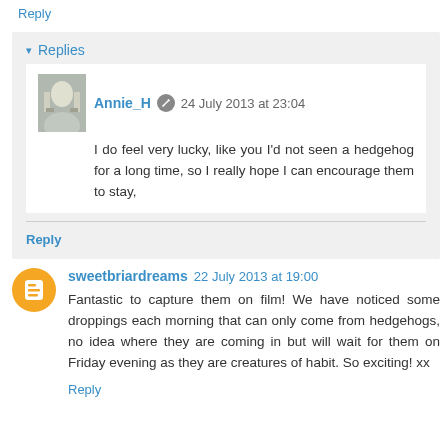Reply
Replies
Annie_H  24 July 2013 at 23:04
I do feel very lucky, like you I'd not seen a hedgehog for a long time, so I really hope I can encourage them to stay,
Reply
sweetbriardreams  22 July 2013 at 19:00
Fantastic to capture them on film! We have noticed some droppings each morning that can only come from hedgehogs, no idea where they are coming in but will wait for them on Friday evening as they are creatures of habit. So exciting! xx
Reply